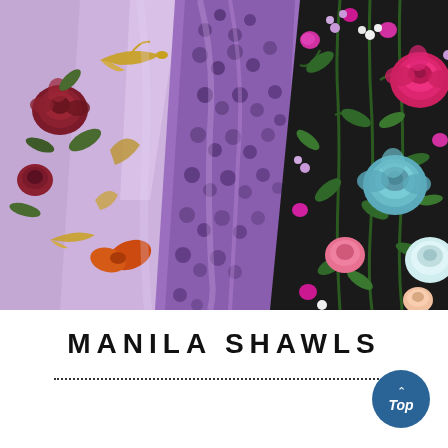[Figure (photo): Close-up photograph of colorful floral fabric shawls layered together. On the left is a lavender/purple fabric with embroidered gold birds and dark red/burgundy roses with green leaves. In the center is a purple fabric with a dark leopard-spot or scale pattern. On the right is a black fabric with vibrant pink, teal/blue, and light peach roses with green stems and leaves. The fabrics are draped and folded across each other.]
MANILA SHAWLS